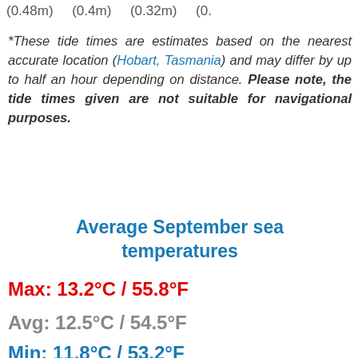(0.48m)   (0.4m)   (0.32m)   (0.
*These tide times are estimates based on the nearest accurate location (Hobart, Tasmania) and may differ by up to half an hour depending on distance. Please note, the tide times given are not suitable for navigational purposes.
Average September sea temperatures
Max: 13.2°C / 55.8°F
Avg: 12.5°C / 54.5°F
Min: 11.8°C / 53.2°F